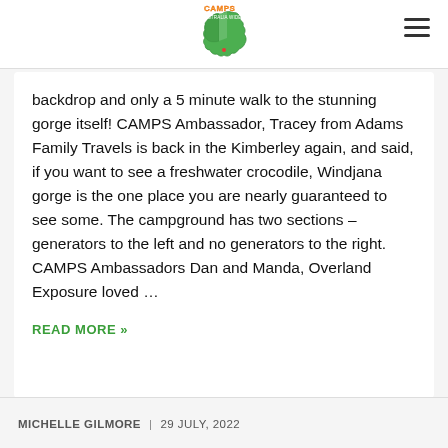[Figure (logo): CAMPS Australia Wide logo - green Australia map shape with yellow CAMPS text and red/orange accents]
backdrop and only a 5 minute walk to the stunning gorge itself! CAMPS Ambassador, Tracey from Adams Family Travels is back in the Kimberley again, and said, if you want to see a freshwater crocodile, Windjana gorge is the one place you are nearly guaranteed to see some. The campground has two sections – generators to the left and no generators to the right. CAMPS Ambassadors Dan and Manda, Overland Exposure loved …
READ MORE »
MICHELLE GILMORE | 29 JULY, 2022